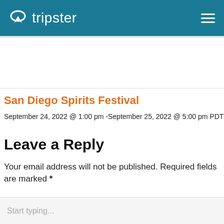tripster
San Diego Spirits Festival
September 24, 2022 @ 1:00 pm -September 25, 2022 @ 5:00 pm PDT
Leave a Reply
Your email address will not be published. Required fields are marked *
Start typing...